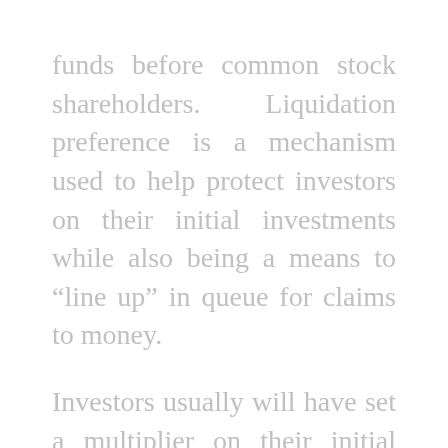funds before common stock shareholders. Liquidation preference is a mechanism used to help protect investors on their initial investments while also being a means to “line up” in queue for claims to money. Investors usually will have set a multiplier on their initial investments written into the contracts, too. Let’s say Hugh invested $10M in each of Good But Not Great LLC and Great Company LLC initially at 40% equity each (each company had a value of $25M). The companies’ founders and employees